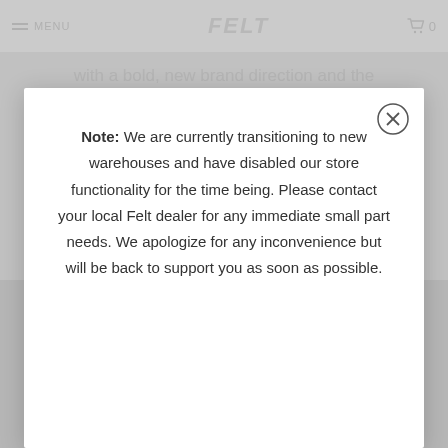MENU   FELT   0
with a bold, new brand direction and the release of two all-new, high-performance
Note: We are currently transitioning to new warehouses and have disabled our store functionality for the time being. Please contact your local Felt dealer for any immediate small part needs. We apologize for any inconvenience but will be back to support you as soon as possible.
[Figure (photo): Greyed out bicycle image at the bottom of the page, partially visible behind the modal overlay]